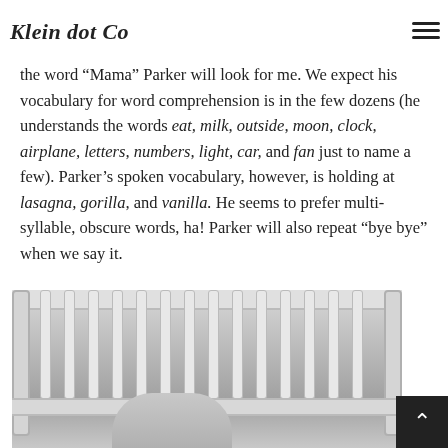Klein dot Co
flipped to the page with a picture of the mother, at me! We have another boo with a Mama bird that talks, and when we read the word “Mama” Parker will look for me. We expect his vocabulary for word comprehension is in the few dozens (he understands the words eat, milk, outside, moon, clock, airplane, letters, numbers, light, car, and fan just to name a few). Parker’s spoken vocabulary, however, is holding at lasagna, gorilla, and vanilla. He seems to prefer multi-syllable, obscure words, ha! Parker will also repeat “bye bye” when we say it.
[Figure (photo): Black and white photo of a baby in a white crib, viewed through crib slats]